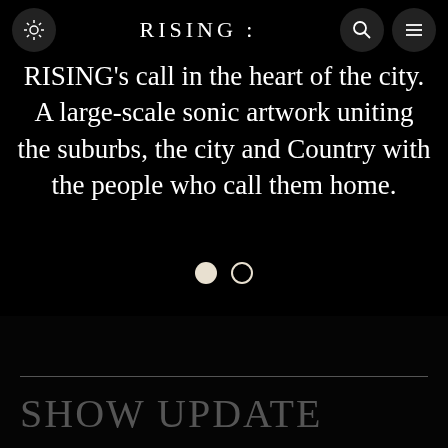RISING :
RISING’s call in the heart of the city. A large-scale sonic artwork uniting the suburbs, the city and Country with the people who call them home.
[Figure (other): Two carousel indicator dots: one filled white circle and one empty (outline) circle]
SHOW UPDATE